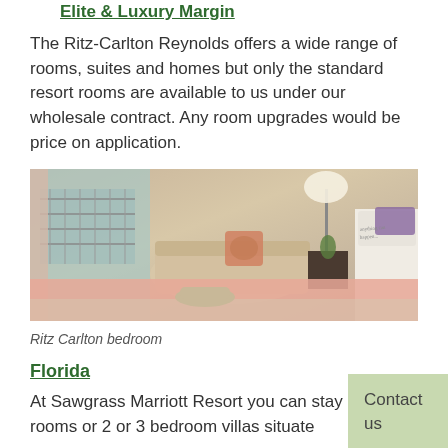Elite & Luxury Margin
The Ritz-Carlton Reynolds offers a wide range of rooms, suites and homes but only the standard resort rooms are available to us under our wholesale contract. Any room upgrades would be price on application.
[Figure (photo): Hotel bedroom with sofa, decorative cushion, bed with pink throw, balcony view with pool fence, lamp and side table.]
Ritz Carlton bedroom
Florida
At Sawgrass Marriott Resort you can stay in hotel rooms or 2 or 3 bedroom villas situate